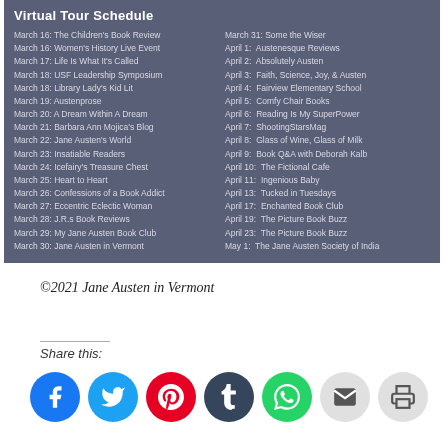Virtual Tour Schedule
March 16: The Children's Book Review
March 16: Women's History Live Event
March 17: Life Is What It's Called
March 18: USF Leadership Symposium
March 18: Library Lady's Kid Lit
March 19: Austenprose
March 20: A Dream Within A Dream
March 21: Barbara Ann Mojica's Blog
March 22: Jane Austen's World
March 23: Insatiable Readers
March 24: Icefairy's Treasure Chest
March 25: Heart to Heart
March 26: Confessions of a Book Addict
March 27: Eccentric Eclectic Woman
March 28: J.R.s Book Reviews
March 29: My Jane Austen Book Club
March 30: Jane Austen in Vermont
March 31: Some the Wiser
April 1:  Austenesque Reviews
April 2:  Absolutely Austen
April 3:  Faith, Science, Joy, & Austen
April 4:  Fairview Elementary School
April 5:  Comfy Chair Books
April 6:  Reading Is My SuperPower
April 7:  ShootingStarsMag
April 8:  Glass of Wine, Glass of Milk
April 9:  Book Q&A with Deborah Kalb
April 10:  The Fictional Cafe
April 11:  Ingenious Baby
April 13:  Tucked in Tuesdays
April 17:  Enchanted Book Club
April 19:  The Picture Book Buzz
April 23:  The Picture Book Buzz
May 1:  The Jane Austen Society of India
©2021 Jane Austen in Vermont
Share this:
[Figure (infographic): Social media share buttons: Facebook (blue), Twitter (light blue), Pinterest (red), Tumblr (dark navy), WhatsApp (green), Email (light grey), Print (light grey)]